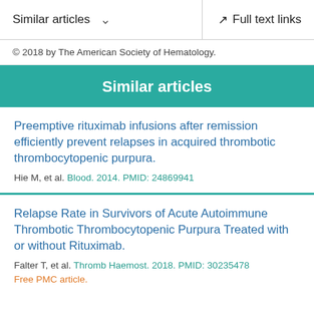Similar articles   Full text links
© 2018 by The American Society of Hematology.
Similar articles
Preemptive rituximab infusions after remission efficiently prevent relapses in acquired thrombotic thrombocytopenic purpura.
Hie M, et al. Blood. 2014. PMID: 24869941
Relapse Rate in Survivors of Acute Autoimmune Thrombotic Thrombocytopenic Purpura Treated with or without Rituximab.
Falter T, et al. Thromb Haemost. 2018. PMID: 30235478
Free PMC article.